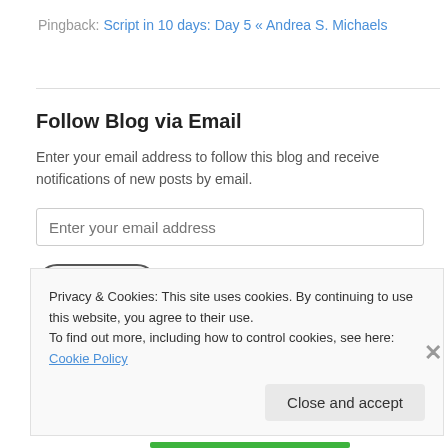Pingback: Script in 10 days: Day 5 « Andrea S. Michaels
Follow Blog via Email
Enter your email address to follow this blog and receive notifications of new posts by email.
Enter your email address
Follow
Privacy & Cookies: This site uses cookies. By continuing to use this website, you agree to their use.
To find out more, including how to control cookies, see here: Cookie Policy
Close and accept